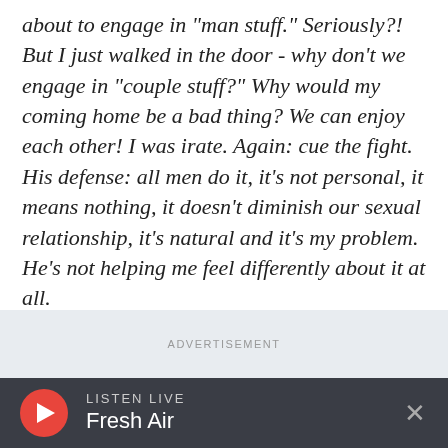about to engage in "man stuff." Seriously?! But I just walked in the door - why don't we engage in "couple stuff?" Why would my coming home be a bad thing? We can enjoy each other! I was irate. Again: cue the fight. His defense: all men do it, it's not personal, it means nothing, it doesn't diminish our sexual relationship, it's natural and it's my problem. He's not helping me feel differently about it at all.
ADVERTISEMENT
LISTEN LIVE Fresh Air